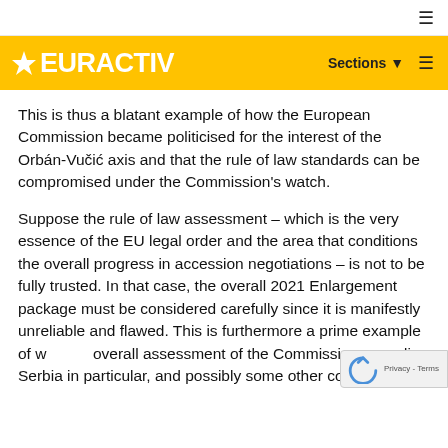≡
[Figure (logo): EURACTIV logo on yellow background with Sections menu and hamburger icon]
This is thus a blatant example of how the European Commission became politicised for the interest of the Orbán-Vučić axis and that the rule of law standards can be compromised under the Commission's watch.
Suppose the rule of law assessment – which is the very essence of the EU legal order and the area that conditions the overall progress in accession negotiations – is not to be fully trusted. In that case, the overall 2021 Enlargement package must be considered carefully since it is manifestly unreliable and flawed. This is furthermore a prime example of why overall assessment of the Commission regarding Serbia in particular, and possibly some other cou...